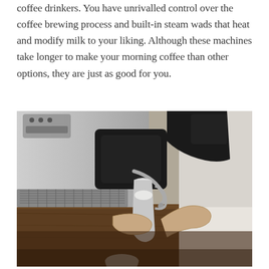coffee drinkers. You have unrivalled control over the coffee brewing process and built-in steam wads that heat and modify milk to your liking. Although these machines take longer to make your morning coffee than other options, they are just as good for you.
[Figure (photo): Close-up photo of a person using a semi-automatic espresso machine, steaming milk in a metal pitcher with the steam wand, coffee machine on a wooden counter.]